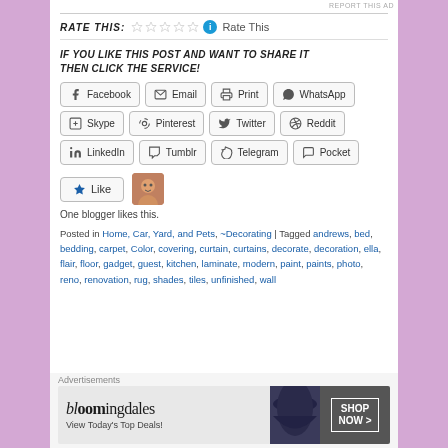REPORT THIS AD
RATE THIS: ⭐⭐⭐⭐⭐ Rate This
IF YOU LIKE THIS POST AND WANT TO SHARE IT THEN CLICK THE SERVICE!
Facebook | Email | Print | WhatsApp | Skype | Pinterest | Twitter | Reddit | LinkedIn | Tumblr | Telegram | Pocket
Like — One blogger likes this.
Posted in Home, Car, Yard, and Pets, ~Decorating | Tagged andrews, bed, bedding, carpet, Color, covering, curtain, curtains, decorate, decoration, ella, flair, floor, gadget, guest, kitchen, laminate, modern, paint, paints, photo, reno, renovation, rug, shades, tiles, unfinished, wall
Advertisements
[Figure (other): Bloomingdales advertisement banner: 'View Today's Top Deals!' with SHOP NOW button]